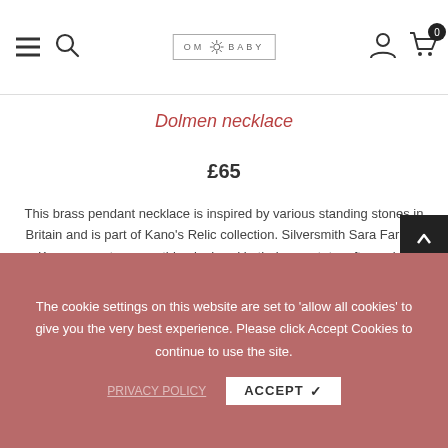OM BABY — navigation bar with hamburger menu, search, logo, user icon, cart (0)
Dolmen necklace
£65
This brass pendant necklace is inspired by various standing stones in Britain and is part of Kano's Relic collection. Silversmith Sara Farrag-Kramer creates everything by hand in their raw state, often using reclaimed materials, resulting in shaped pieces that are contemporary in style but carry with them inspiration from many sources. I love the whole collection! Custom commissions close today but you can order from this collection until the 17th.
The cookie settings on this website are set to 'allow all cookies' to give you the very best experience. Please click Accept Cookies to continue to use the site.